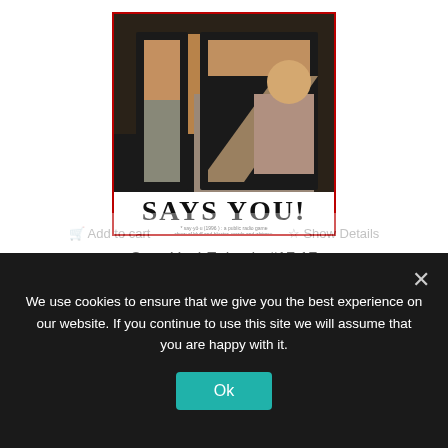[Figure (illustration): Album cover art for '17 Says You!' showing a large number 17 with a person visible through the cutout letters, and text 'SAYS YOU!' below with subtitle about a public radio game show.]
Says You! Episode #17.17
$1.95
We use cookies to ensure that we give you the best experience on our website. If you continue to use this site we will assume that you are happy with it.